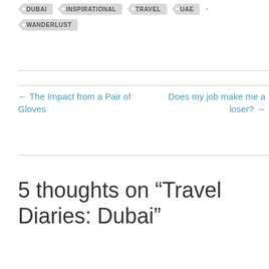DUBAI
INSPIRATIONAL
TRAVEL
UAE
WANDERLUST
← The Impact from a Pair of Gloves
Does my job make me a loser? →
5 thoughts on “Travel Diaries: Dubai”